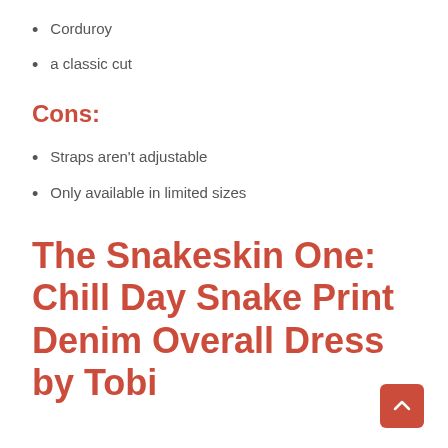Corduroy
a classic cut
Cons:
Straps aren't adjustable
Only available in limited sizes
The Snakeskin One: Chill Day Snake Print Denim Overall Dress by Tobi